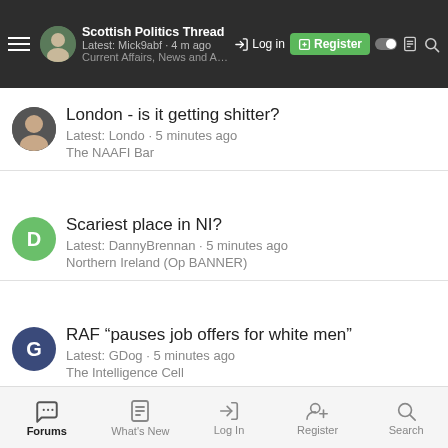Scottish Politics Thread | Latest: Mick9abf · 4 m ago | Current Affairs, News and Analysis | Log in | Register
London - is it getting shitter? | Latest: Londo · 5 minutes ago | The NAAFI Bar
Scariest place in NI? | Latest: DannyBrennan · 5 minutes ago | Northern Ireland (Op BANNER)
RAF "pauses job offers for white men" | Latest: GDog · 5 minutes ago | The Intelligence Cell
Latest Threads
Three off-duty Dutch Commandos shot in Indianapolis | Started by oxspy · Today at 19:54 · Replies: 10
Forums | What's New | Log In | Register | Search